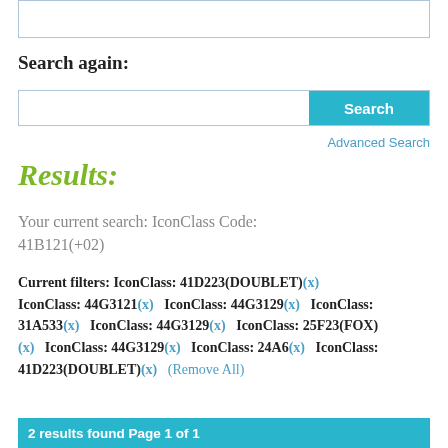[Figure (screenshot): Top partial box/search element clipped at top of page]
Search again:
[Figure (screenshot): Search input box with cyan Search button]
Advanced Search
Results:
Your current search: IconClass Code: 41B121(+02)
Current filters: IconClass: 41D223(DOUBLET)(x) IconClass: 44G3121(x) IconClass: 44G3129(x) IconClass: 31A533(x) IconClass: 44G3129(x) IconClass: 25F23(FOX)(x) IconClass: 44G3129(x) IconClass: 24A6(x) IconClass: 41D223(DOUBLET)(x) (Remove All)
2 results found Page 1 of 1